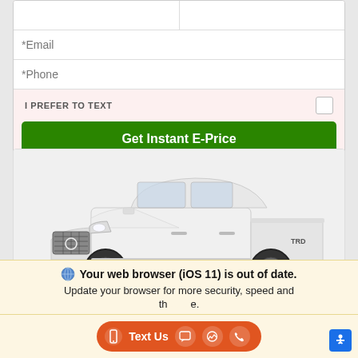[Figure (screenshot): Form section with Email field, Phone field, I PREFER TO TEXT checkbox, and Get Instant E-Price green button on pinkish background]
[Figure (photo): White Toyota Tacoma TRD pickup truck facing left, side/front three-quarter view on gray background]
🌐 Your web browser (iOS 11) is out of date. Update your browser for more security, speed and the best experience on this site.
[Figure (screenshot): Orange pill-shaped toolbar with Text Us button, chat icon, messenger icon, phone icon, and blue accessibility button]